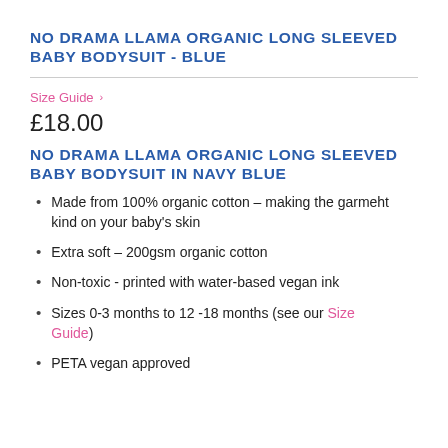NO DRAMA LLAMA ORGANIC LONG SLEEVED BABY BODYSUIT - BLUE
Size Guide >
£18.00
NO DRAMA LLAMA ORGANIC LONG SLEEVED BABY BODYSUIT IN NAVY BLUE
Made from 100% organic cotton – making the garmeht kind on your baby's skin
Extra soft – 200gsm organic cotton
Non-toxic - printed with water-based vegan ink
Sizes 0-3 months to 12 -18 months (see our Size Guide)
PETA vegan approved